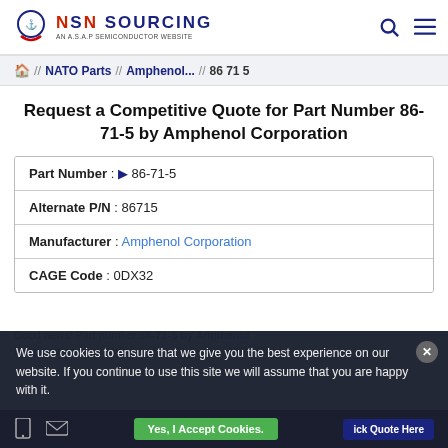NSN SOURCING — AN A.S.A.P SEMICONDUCTOR WEBSITE
Home // NATO Parts // Amphenol... // 86 71 5
Request a Competitive Quote for Part Number 86-71-5 by Amphenol Corporation
| Field | Value |
| --- | --- |
| Part Number | 86-71-5 |
| Alternate P/N | 86715 |
| Manufacturer | Amphenol Corporation |
| CAGE Code | 0DX32 |
We use cookies to ensure that we give you the best experience on our website. If you continue to use this site we will assume that you are happy with it.
Good news! Part number 86-71-5 by Amphenol Corporation is available and ready to ship. NSN Sourcing.